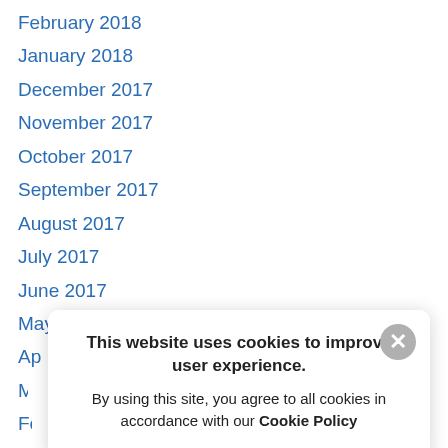February 2018
January 2018
December 2017
November 2017
October 2017
September 2017
August 2017
July 2017
June 2017
May 2017
Ap[ril 2017]
M[arch 2017]
Fe[bruary 2017]
Ja[nuary 2017]
De[cember 2016]
N[ovember 2016]
O[ctober 2016]
Se[ptember 2016]
[Figure (screenshot): Cookie consent modal dialog with close button (X), bold title 'This website uses cookies to improve user experience.' and body text 'By using this site, you agree to all cookies in accordance with our Cookie Policy']